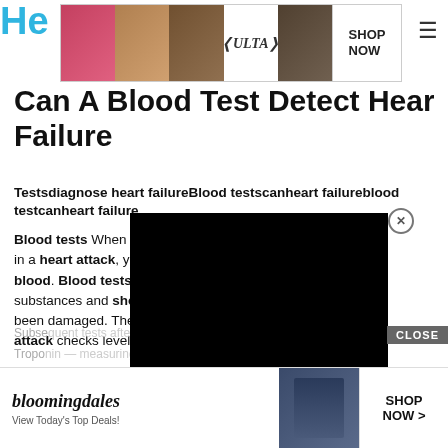He[alth] — navigation header with Ulta beauty advertisement banner and hamburger menu
Can A Blood Test Detect Heart Failure
Testsdiagnose heart failureBlood testscanheart failureblood testcanheart failure
Blood tests When your heart m[uscle is damaged, such as] in a heart attack, your body rel[eases certain proteins into your] blood. Blood tests can measu[re levels of these] substances and show if, and ho[w much of, your heart muscle has] been damaged. The most common test after a heart attack checks levels of troponin in your blood.
[Figure (screenshot): Black video player overlay with close (X) button]
Subse[quent tests after a heart attack?]
Tropo[nin — measuring during monitoring]
[Figure (screenshot): Bloomingdale's advertisement banner at bottom: 'View Today's Top Deals!' with SHOP NOW button]